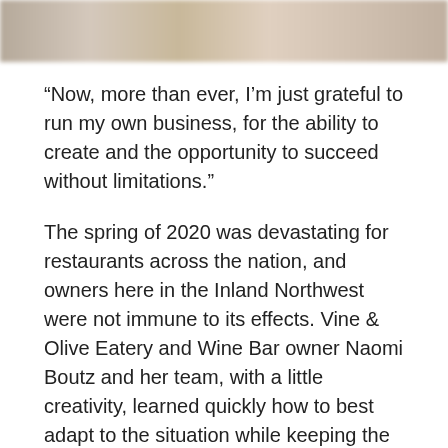[Figure (photo): Blurred photo strip at top of page, showing indistinct warm-toned image]
“Now, more than ever, I’m just grateful to run my own business, for the ability to create and the opportunity to succeed without limitations.”
The spring of 2020 was devastating for restaurants across the nation, and owners here in the Inland Northwest were not immune to its effects. Vine & Olive Eatery and Wine Bar owner Naomi Boutz and her team, with a little creativity, learned quickly how to best adapt to the situation while keeping the restaurant open and profitable. “I have a whole new appreciation for